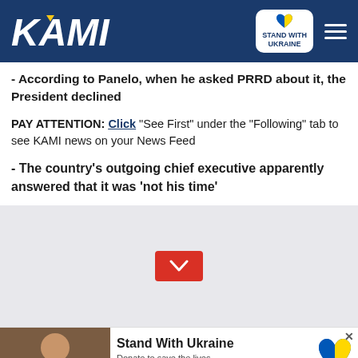KAMI — Stand With Ukraine
- According to Panelo, when he asked PRRD about it, the President declined
PAY ATTENTION: Click "See First" under the "Following" tab to see KAMI news on your News Feed
- The country's outgoing chief executive apparently answered that it was 'not his time'
[Figure (infographic): Stand With Ukraine ad banner with child photo, heart logo, and donate message: 'Stand With Ukraine — Donate to save the lives of millions of children']